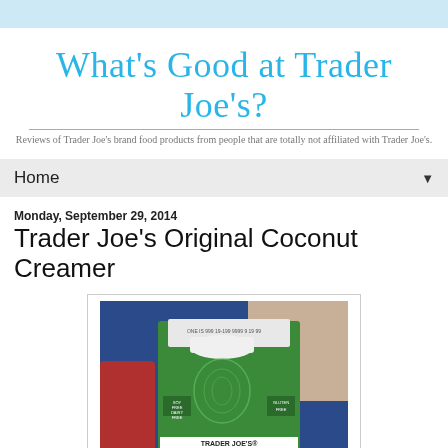[Figure (logo): What's Good at Trader Joe's? blog logo in cursive blue text with subtitle: Reviews of Trader Joe's brand food products from people that are totally not affiliated with Trader Joe's.]
Home
Monday, September 29, 2014
Trader Joe's Original Coconut Creamer
[Figure (photo): Photo of Trader Joe's Original Coconut Creamer product — a green carton with white cap and green palm leaf design, showing text TRADER JOE'S ORIGINAL on the front, with labels SOY FREE, DAIRY FREE, GLUTEN FREE.]